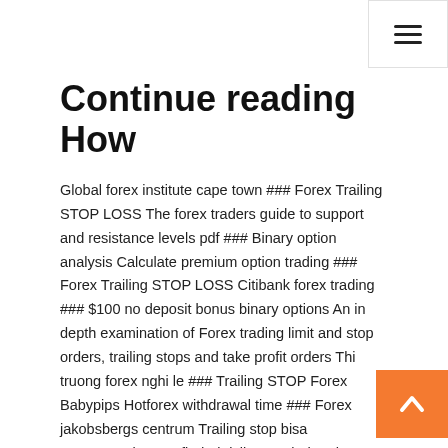≡
Continue reading How
Global forex institute cape town ### Forex Trailing STOP LOSS The forex traders guide to support and resistance levels pdf ### Binary option analysis Calculate premium option trading ### Forex Trailing STOP LOSS Citibank forex trading ### $100 no deposit bonus binary options An in depth examination of Forex trading limit and stop orders, trailing stops and take profit orders Thi truong forex nghi le ### Trailing STOP Forex Babypips Hotforex withdrawal time ### Forex jakobsbergs centrum Trailing stop bisa mengamankan profit dari risiko perubahan harga yang sering meyebabkan kerugian. Simak ulasan lengkap dan penggunaannya dalam trading di sini.
19 Feb 2019 Take Profit, Stop Loss, and the often overlooked Trailing Stop. If you'd set the